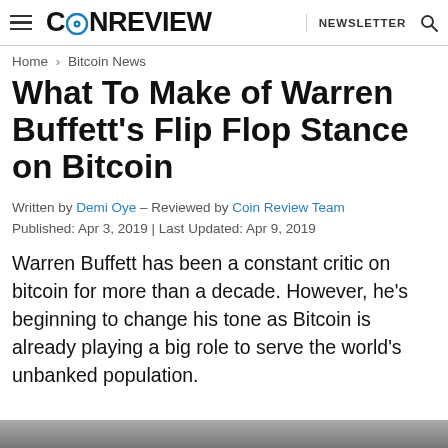COINREVIEW | NEWSLETTER | Search
Home > Bitcoin News
What To Make of Warren Buffett's Flip Flop Stance on Bitcoin
Written by Demi Oye - Reviewed by Coin Review Team
Published: Apr 3, 2019 | Last Updated: Apr 9, 2019
Warren Buffett has been a constant critic on bitcoin for more than a decade. However, he's beginning to change his tone as Bitcoin is already playing a big role to serve the world's unbanked population.
[Figure (photo): Bottom strip of an image, partially visible at the bottom of the page]